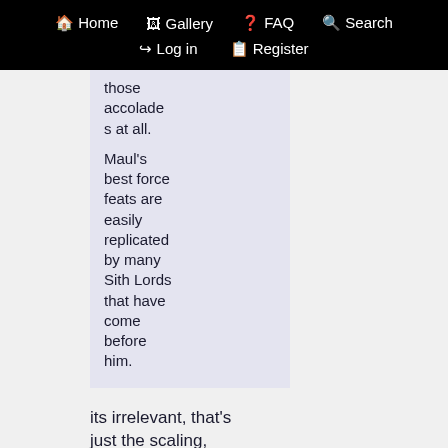Home  Gallery  FAQ  Search  Log in  Register
those accolades at all.

Maul's best force feats are easily replicated by many Sith Lords that have come before him.
its irrelevant, that's just the scaling,